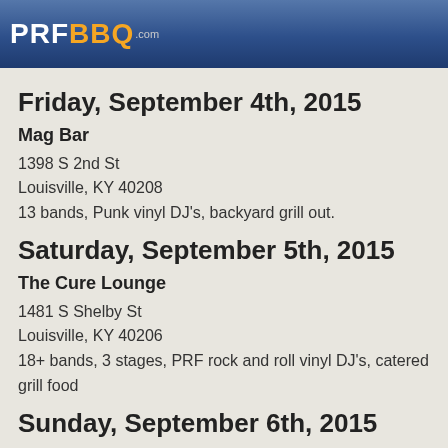PRFBBQ.com
Friday, September 4th, 2015
Mag Bar
1398 S 2nd St
Louisville, KY 40208
13 bands, Punk vinyl DJ's, backyard grill out.
Saturday, September 5th, 2015
The Cure Lounge
1481 S Shelby St
Louisville, KY 40206
18+ bands, 3 stages, PRF rock and roll vinyl DJ's, catered grill food
Sunday, September 6th, 2015
The Cure Lounge